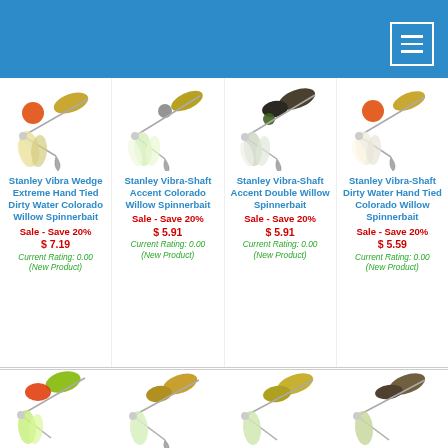[Figure (screenshot): E-commerce website header with blue background and hamburger menu icon]
[Figure (photo): Stanley Vibra Wedge Extreme Hand Tied Dirty Water Colorado Willow Spinnerbait product image]
Stanley Vibra Wedge Extreme Hand Tied Dirty Water Colorado Willow Spinnerbait
Sale - Save 20%
$ 7.19
Current Rating: 0.00
(New Product)
[Figure (photo): Stanley Vibra-Shaft Accent Colorado Willow Spinnerbait product image]
Stanley Vibra-Shaft Accent Colorado Willow Spinnerbait
Sale - Save 20%
$ 5.91
Current Rating: 0.00
(New Product)
[Figure (photo): Stanley Vibra-Shaft Accent Double Willow Spinnerbait product image]
Stanley Vibra-Shaft Accent Double Willow Spinnerbait
Sale - Save 20%
$ 5.91
Current Rating: 0.00
(New Product)
[Figure (photo): Stanley Vibra-Shaft Dirty Water Hand Tied Colorado Willow Spinnerbait product image]
Stanley Vibra-Shaft Dirty Water Hand Tied Colorado Willow Spinnerbait
Sale - Save 20%
$ 5.59
Current Rating: 0.00
(New Product)
[Figure (photo): Bottom row of spinnerbait product images partially visible]